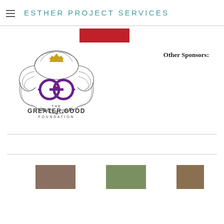ESTHER PROJECT SERVICES
[Figure (logo): The Greater Good Foundation logo — ornate decorative crest with purple double-G monogram and gold crown, with text 'THE GREATER GOOD FOUNDATION']
Other Sponsors:
[Figure (photo): Two partially visible photos at the bottom of the page showing people]